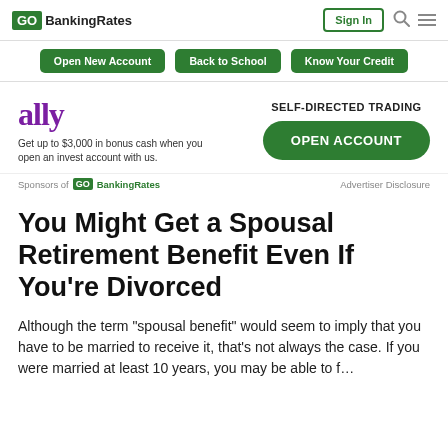GOBankingRates | Sign In
[Figure (screenshot): Navigation bar with buttons: Open New Account, Back to School, Know Your Credit]
[Figure (infographic): Ally advertisement: ally logo, text 'Get up to $3,000 in bonus cash when you open an invest account with us.', SELF-DIRECTED TRADING label, OPEN ACCOUNT green button]
Sponsors of GOBankingRates   Advertiser Disclosure
You Might Get a Spousal Retirement Benefit Even If You’re Divorced
Although the term “spousal benefit” would seem to imply that you have to be married to receive it, that’s not always the case. If you were married at least 10 years, you may be able to f…